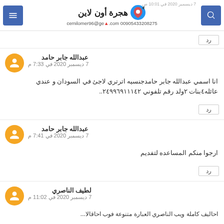هجرة أون لاين | cemilomer96@gmail.com 00905433208275 | 7 ديسمبر 2020 في 10:01 ص
رد
عبدالله جابر حامد
7 ديسمبر 2020 في 7:33 م
انا اسمي عبدالله جابر حامدجنسيه اترتري لاجئ في السودان و عندي عائله٤بنات ٢ولد رقم تلفوني ٢٤٩٩٦٩١١١٤٢..
رد
عبدالله جابر حامد
7 ديسمبر 2020 في 7:41 م
ارجوا منكم المساعده لتفديم
رد
لطيف الناصري
7 ديسمبر 2020 في 11:02 م
احاليف كاملة ويب الناصري العبارة متنوعة فوب احاقالا...